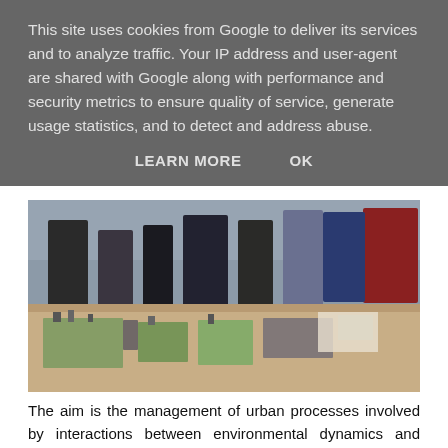This site uses cookies from Google to deliver its services and to analyze traffic. Your IP address and user-agent are shared with Google along with performance and security metrics to ensure quality of service, generate usage statistics, and to detect and address abuse.
LEARN MORE    OK
[Figure (photo): People standing around a table examining an urban planning scale model with green patches and miniature buildings]
The aim is the management of urban processes involved by interactions between environmental dynamics and settlement. This interactions have strong roots in the project that is sensitive to the tradition, but it is above all a tool for innovation because it can generate new landscapes that respond to new conditions requested by the contemporary world.
The territory and its landscapes recall the need for new actions that activate environmental policies no longer linked to competitive development strategies but to cultural production...